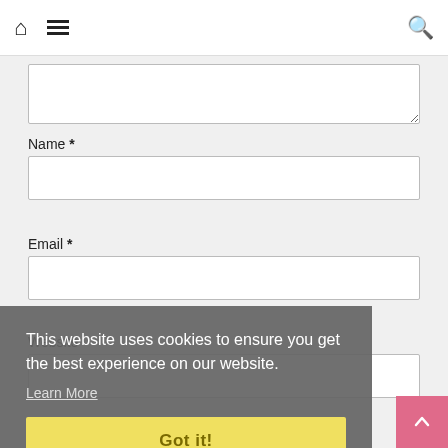Home | Menu | Search
(Textarea input field — partial, top of page)
Name *
Email *
Website
This website uses cookies to ensure you get the best experience on our website. Learn More
Got it!
Save my name, email, and website in this browser for